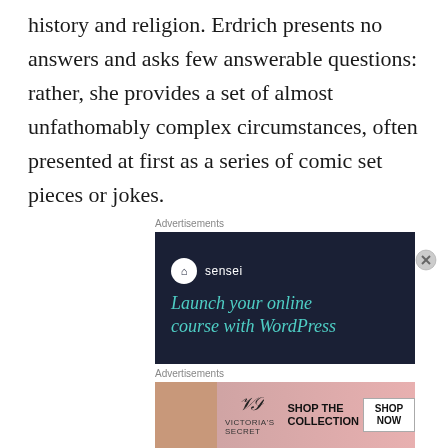history and religion. Erdrich presents no answers and asks few answerable questions: rather, she provides a set of almost unfathomably complex circumstances, often presented at first as a series of comic set pieces or jokes.
[Figure (other): Advertisement banner for Sensei: dark navy background with Sensei logo (tree icon in white circle) and text 'Launch your online course with WordPress' in teal/mint colored italic font]
[Figure (other): Advertisement banner for Victoria's Secret: pink gradient background, woman's photo on left, Victoria's Secret logo in center, 'SHOP THE COLLECTION' text and 'SHOP NOW' white button on right]